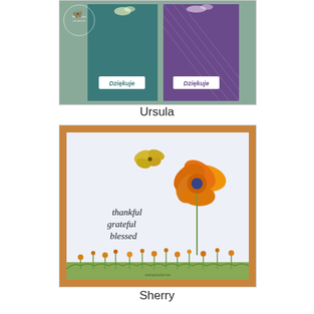[Figure (photo): Greeting cards with teal and purple backgrounds stamped with 'Dziękuję' text, showing floral and butterfly designs. A small butterfly watermark logo is visible in the top-left corner.]
Ursula
[Figure (photo): Handmade greeting card with golden-orange border on a light blue-gray background. Features a large orange poppy flower with a dark purple center, a yellow butterfly in the upper left, orange wildflowers along the bottom, and script text reading 'thankful grateful blessed'.]
Sherry